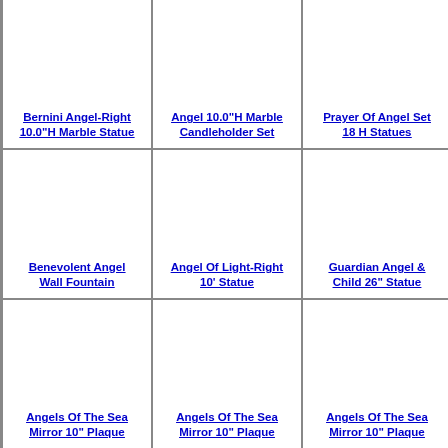[Figure (other): Product image placeholder for Bernini Angel-Right 10.0"H Marble Statue]
Bernini Angel-Right 10.0"H Marble Statue
[Figure (other): Product image placeholder for Angel 10.0"H Marble Candleholder Set]
Angel 10.0"H Marble Candleholder Set
[Figure (other): Product image placeholder for Prayer Of Angel Set 18 H Statues]
Prayer Of Angel Set 18 H Statues
[Figure (other): Product image placeholder for Benevolent Angel Wall Fountain]
Benevolent Angel Wall Fountain
[Figure (other): Product image placeholder for Angel Of Light-Right 10' Statue]
Angel Of Light-Right 10' Statue
[Figure (other): Product image placeholder for Guardian Angel & Child 26" Statue]
Guardian Angel & Child 26" Statue
[Figure (other): Product image placeholder for Angels Of The Sea Mirror 10" Plaque]
Angels Of The Sea Mirror 10" Plaque
[Figure (other): Product image placeholder for Angels Of The Sea Mirror 10" Plaque]
Angels Of The Sea Mirror 10" Plaque
[Figure (other): Product image placeholder for Angels Of The Sea Mirror 10" Plaque]
Angels Of The Sea Mirror 10" Plaque